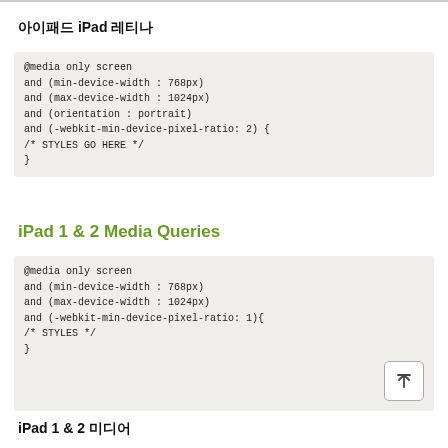아이패드 iPad 레티나
@media only screen
and (min-device-width : 768px)
and (max-device-width : 1024px)
and (orientation : portrait)
and (-webkit-min-device-pixel-ratio: 2) {
/* STYLES GO HERE */
}
iPad 1 & 2 Media Queries
@media only screen
and (min-device-width : 768px)
and (max-device-width : 1024px)
and (-webkit-min-device-pixel-ratio: 1){
/* STYLES */
}
iPad 1 & 2 미디어